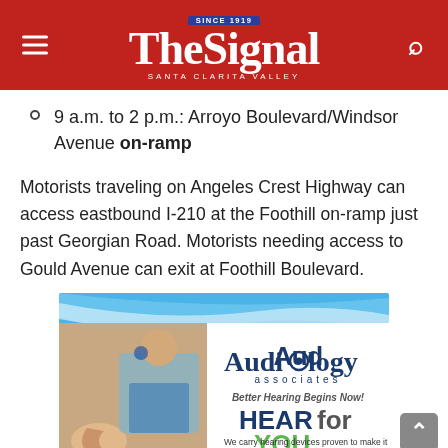The Signal — Santa Clarita Valley
9 a.m. to 2 p.m.: Arroyo Boulevard/Windsor Avenue on-ramp
Motorists traveling on Angeles Crest Highway can access eastbound I-210 at the Foothill on-ramp just past Georgian Road. Motorists needing access to Gould Avenue can exit at Foothill Boulevard.
[Figure (photo): Advertisement for Audiology Associates — 'Better Hearing Begins Now! HEAR for YOU. We carry hearing devices proven to make it...' with image of audiologist and patient.]